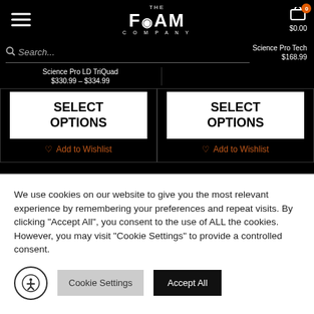THE FOAM COMPANY
Science Pro LD TriQuad $330.99 – $334.99
Science Pro Tech $168.99
SELECT OPTIONS
Add to Wishlist
SELECT OPTIONS
Add to Wishlist
We use cookies on our website to give you the most relevant experience by remembering your preferences and repeat visits. By clicking "Accept All", you consent to the use of ALL the cookies. However, you may visit "Cookie Settings" to provide a controlled consent.
Cookie Settings
Accept All